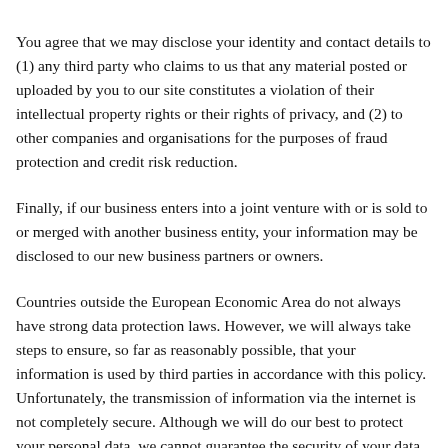You agree that we may disclose your identity and contact details to (1) any third party who claims to us that any material posted or uploaded by you to our site constitutes a violation of their intellectual property rights or their rights of privacy, and (2) to other companies and organisations for the purposes of fraud protection and credit risk reduction.
Finally, if our business enters into a joint venture with or is sold to or merged with another business entity, your information may be disclosed to our new business partners or owners.
Countries outside the European Economic Area do not always have strong data protection laws. However, we will always take steps to ensure, so far as reasonably possible, that your information is used by third parties in accordance with this policy.
Unfortunately, the transmission of information via the internet is not completely secure. Although we will do our best to protect your personal data, we cannot guarantee the security of your data transmitted to our site; any transmission is at your own risk.